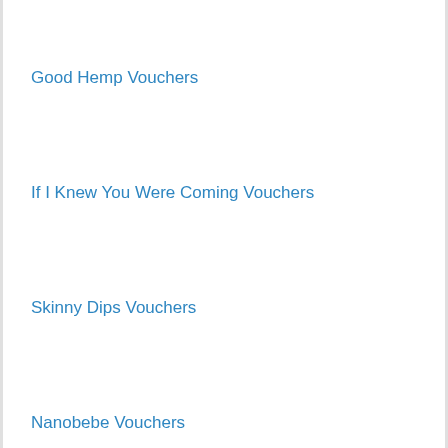Good Hemp Vouchers
If I Knew You Were Coming Vouchers
Skinny Dips Vouchers
Nanobebe Vouchers
Tipsy Panda Cocktail Vouchers
Maqio Vouchers
Bier Company Vouchers
Stamp Design 4U Vouchers
Zeal Vouchers